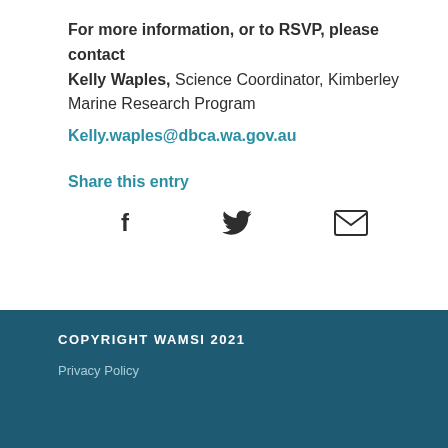For more information, or to RSVP, please contact Kelly Waples, Science Coordinator, Kimberley Marine Research Program
Kelly.waples@dbca.wa.gov.au
Share this entry
[Figure (infographic): Three social sharing icons: Facebook (f), Twitter (bird), and Email (envelope), displayed horizontally]
COPYRIGHT WAMSI 2021
Privacy Policy